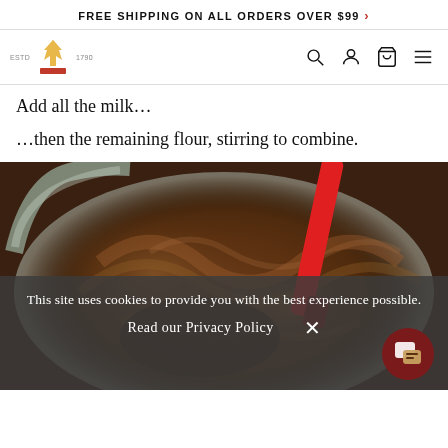FREE SHIPPING ON ALL ORDERS OVER $99 >
[Figure (logo): Brand logo: crown/wheat icon with 'ESTD 1790' text, plus navigation icons (search, account, cart, menu)]
Add all the milk...
…then the remaining flour, stirring to combine.
[Figure (photo): Overhead view of chocolate batter being stirred in a mixing bowl with a red spatula]
This site uses cookies to provide you with the best experience possible.
Read our Privacy Policy